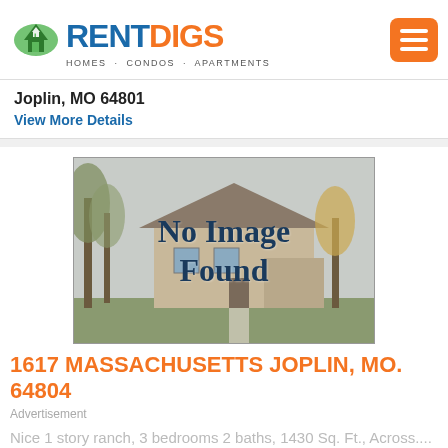[Figure (logo): RentDigs logo with house icon, blue RENT and orange DIGS text, tagline HOMES · CONDOS · APARTMENTS]
Joplin, MO 64801
View More Details
[Figure (photo): No Image Found placeholder showing a house background with dark overlay text saying No Image Found]
1617 MASSACHUSETTS JOPLIN, MO. 64804
Advertisement
Nice 1 story ranch, 3 bedrooms 2 baths, 1430 Sq. Ft., Across....
3 Bedrooms